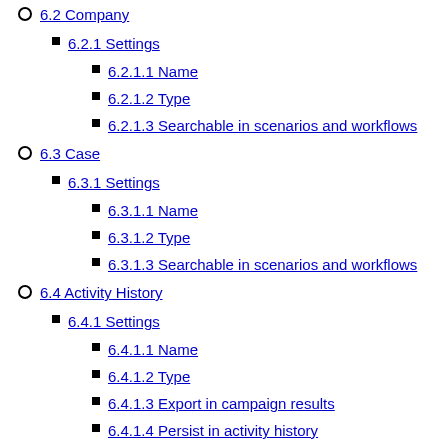6.2 Company
6.2.1 Settings
6.2.1.1 Name
6.2.1.2 Type
6.2.1.3 Searchable in scenarios and workflows
6.3 Case
6.3.1 Settings
6.3.1.1 Name
6.3.1.2 Type
6.3.1.3 Searchable in scenarios and workflows
6.4 Activity History
6.4.1 Settings
6.4.1.1 Name
6.4.1.2 Type
6.4.1.3 Export in campaign results
6.4.1.4 Persist in activity history
6.4.1.5 Searchable in scenarios and workflows
6.5 Knowledge Base